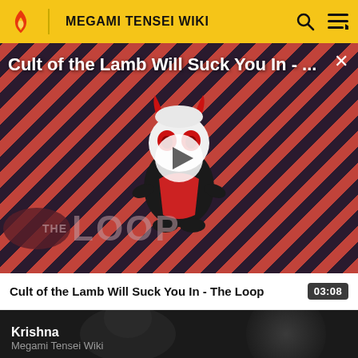MEGAMI TENSEI WIKI
[Figure (screenshot): Video thumbnail for 'Cult of the Lamb Will Suck You In - The Loop' with diagonal red and dark stripe background, cartoon lamb character, play button, and THE LOOP text overlay]
Cult of the Lamb Will Suck You In - The Loop    03:08
[Figure (photo): Krishna article card on Megami Tensei Wiki showing dark image of figure with text Krishna and Megami Tensei Wiki subtitle]